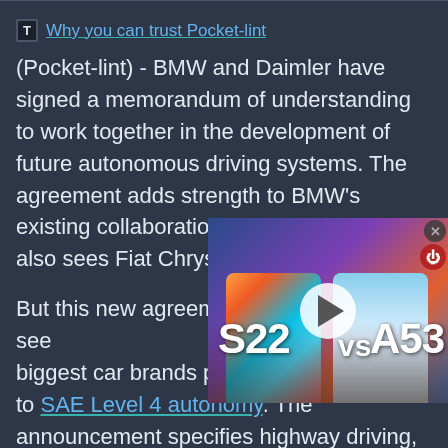Why you can trust Pocket-lint
(Pocket-lint) - BMW and Daimler have signed a memorandum of understanding to work together in the development of future autonomous driving systems. The agreement adds strength to BMW's existing collaboration approach, which also sees Fiat Chrysler as part of of th...
[Figure (screenshot): Video thumbnail showing two smartphones side by side labeled S22 and A53 with a play button overlay]
But this new agreement see... biggest car brands pulling in... to SAE Level 4 autonomy. The announcement specifies highway driving, parking, and driver assistance systems, but it is noted that it might extend beyond level 4 to fully autonomous level 5